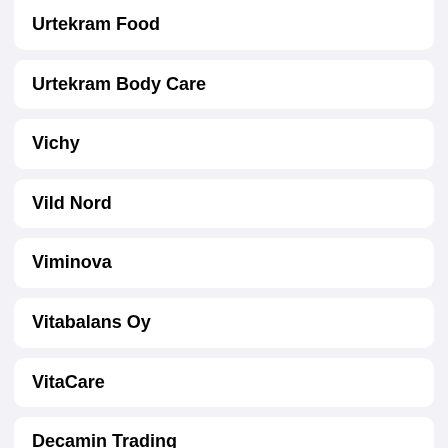Urtekram Food
Urtekram Body Care
Vichy
Vild Nord
Viminova
Vitabalans Oy
VitaCare
Decamin Trading
VitaYummy